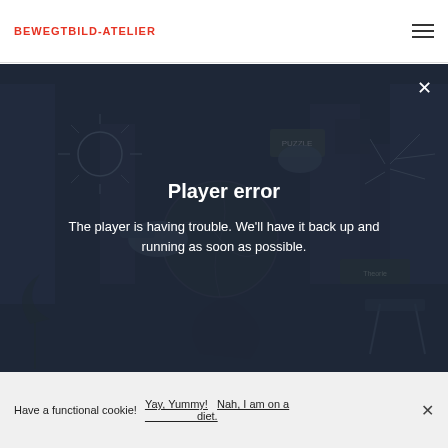BEWEGTBILD-ATELIER
[Figure (screenshot): Player error screen over dark illustrated background showing animated hands, globe, and abstract objects. White text reads 'Player error' and 'The player is having trouble. We'll have it back up and running as soon as possible.' A close X button appears in the top right corner.]
'Kontinuierlich über 50 Bilder' Animierter Short Fashion...
Have a functional cookie! Yay, Yummy! Nah, I am on a diet.